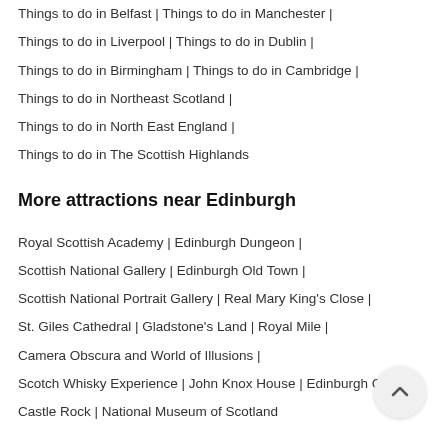Things to do in Belfast | Things to do in Manchester |
Things to do in Liverpool | Things to do in Dublin |
Things to do in Birmingham | Things to do in Cambridge |
Things to do in Northeast Scotland |
Things to do in North East England |
Things to do in The Scottish Highlands
More attractions near Edinburgh
Royal Scottish Academy | Edinburgh Dungeon |
Scottish National Gallery | Edinburgh Old Town |
Scottish National Portrait Gallery | Real Mary King's Close |
St. Giles Cathedral | Gladstone's Land | Royal Mile |
Camera Obscura and World of Illusions |
Scotch Whisky Experience | John Knox House | Edinburgh C…
Castle Rock | National Museum of Scotland